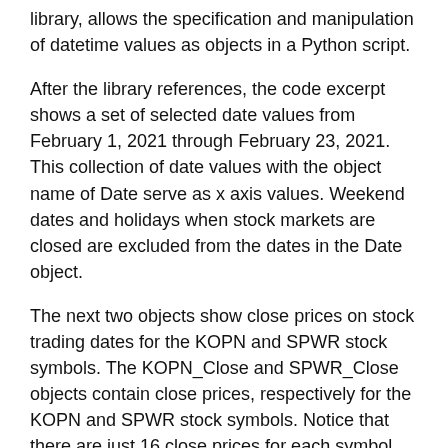library, allows the specification and manipulation of datetime values as objects in a Python script.
After the library references, the code excerpt shows a set of selected date values from February 1, 2021 through February 23, 2021. This collection of date values with the object name of Date serve as x axis values. Weekend dates and holidays when stock markets are closed are excluded from the dates in the Date object.
The next two objects show close prices on stock trading dates for the KOPN and SPWR stock symbols. The KOPN_Close and SPWR_Close objects contain close prices, respectively for the KOPN and SPWR stock symbols. Notice that there are just 16 close prices for each symbol. The 16 close prices for each stock symbol correspond to the 16 dates in the Date object when the stock market is open to exchange shares.